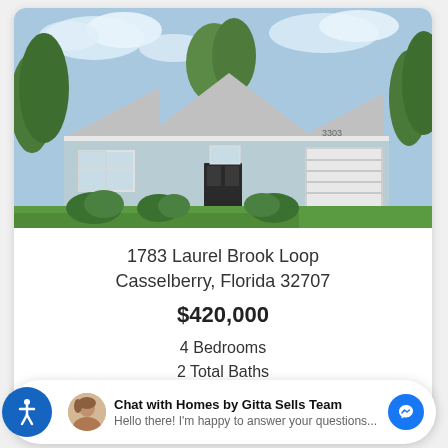[Figure (photo): Exterior photo of a single-story residential home with light blue-gray stucco siding, white trim, a two-car garage, green landscaping with shrubs, and a large front lawn.]
1783 Laurel Brook Loop
Casselberry, Florida 32707
$420,000
4 Bedrooms
2 Total Baths
Chat with Homes by Gitta Sells Team
Hello there! I'm happy to answer your questions...